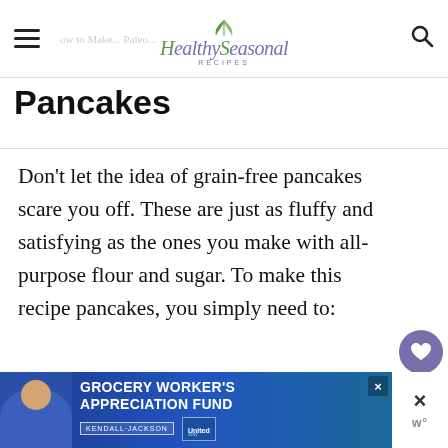Healthy Seasonal Recipes — How to Make Paleo Pancakes
Pancakes
Don't let the idea of grain-free pancakes scare you off. These are just as fluffy and satisfying as the ones you make with all-purpose flour and sugar. To make this recipe pancakes, you simply need to:
[Figure (screenshot): Floating action buttons: heart icon button (purple circle) with 1.9K count label, and a share button below]
[Figure (infographic): Advertisement banner: Grocery Worker's Appreciation Fund with Kendall-Jackson and United Way logos, with a close button]